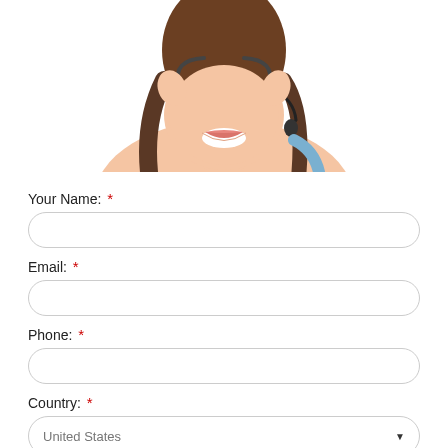[Figure (photo): Woman smiling and wearing a headset/microphone, visible from chin to shoulders, cropped at top of page]
Your Name: *
Email: *
Phone: *
Country: *
United States